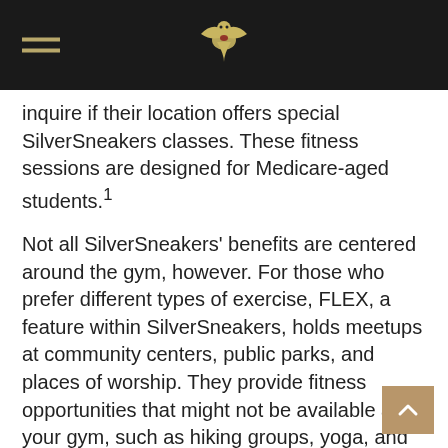[hamburger menu] [eagle logo]
inquire if their location offers special SilverSneakers classes. These fitness sessions are designed for Medicare-aged students.¹
Not all SilverSneakers' benefits are centered around the gym, however. For those who prefer different types of exercise, FLEX, a feature within SilverSneakers, holds meetups at community centers, public parks, and places of worship. They provide fitness opportunities that might not be available at your gym, such as hiking groups, yoga, and swimming.¹
SilverSneakers also offers health seminars, wellness events, and other community-building options for their members. The emphasis is on